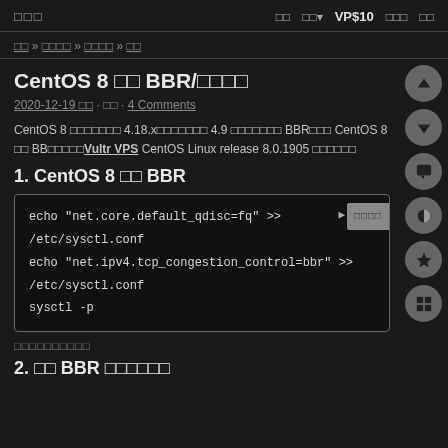□□□   □□  □□▼  VP$10  □□□  □□
□□ » □□□□ » □□□□ » □□
CentOS 8 □□ BBR/□□□□
2020-12-19 □□ · □□ · 4 Comments
CentOS 8 □□□□□□□ 4.18.x□□□□□□□ 4.9 □□□□□□□ BBR□□□ CentOS 8 □□ BB□□□□□Vultr VPS CentOS Linux release 8.0.1905 □□□□□□
1. CentOS 8 □□ BBR
echo "net.core.default_qdisc=fq" >> /etc/sysctl.conf
echo "net.ipv4.tcp_congestion_control=bbr" >> /etc/sysctl.conf
sysctl -p
□□□□□□□□□□
2. □□ BBR □□□□□□